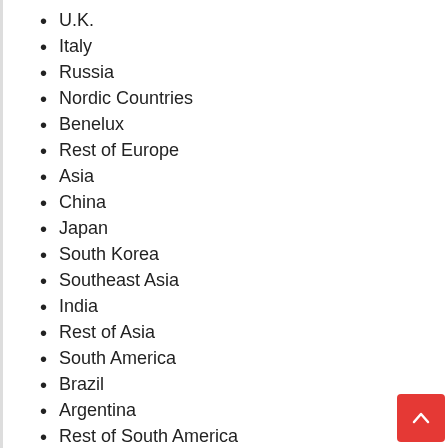U.K.
Italy
Russia
Nordic Countries
Benelux
Rest of Europe
Asia
China
Japan
South Korea
Southeast Asia
India
Rest of Asia
South America
Brazil
Argentina
Rest of South America